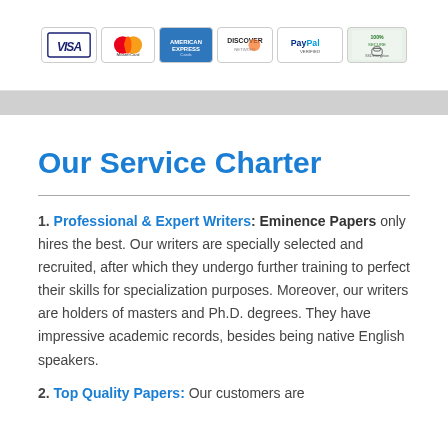[Figure (infographic): Payment method icons: VISA, MasterCard, American Express, Discover, PayPal Verified, 100% Secure SSL Encryption]
Our Service Charter
1. Professional & Expert Writers: Eminence Papers only hires the best. Our writers are specially selected and recruited, after which they undergo further training to perfect their skills for specialization purposes. Moreover, our writers are holders of masters and Ph.D. degrees. They have impressive academic records, besides being native English speakers.
2. Top Quality Papers: Our customers are